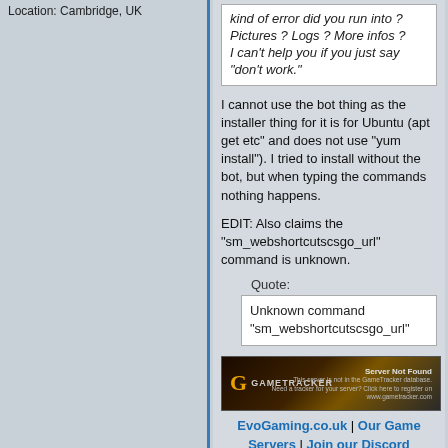Location: Cambridge, UK
[Figure (screenshot): Quoted forum message in italic: 'kind of error did you run into ? Pictures ? Logs ? More infos ? I can't help you if you just say "don't work."']
I cannot use the bot thing as the installer thing for it is for Ubuntu (apt get etc" and does not use "yum install"). I tried to install without the bot, but when typing the commands nothing happens.
EDIT: Also claims the "sm_webshortcutscsgo_url" command is unknown.
Quote:
Unknown command "sm_webshortcutscsgo_url"
[Figure (screenshot): GameTracker banner showing 'Server Not Found']
EvoGaming.co.uk | Our Game Servers | Join our Discord
Last edited by HiddenConn1; 09:08